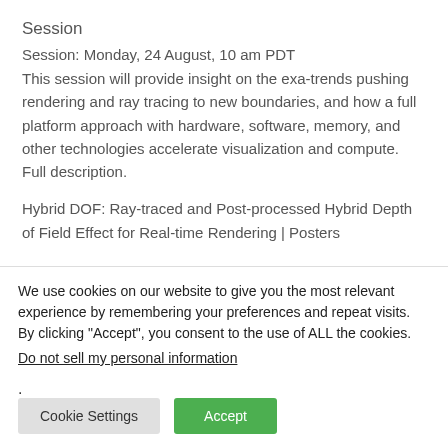Session
Session: Monday, 24 August, 10 am PDT
This session will provide insight on the exa-trends pushing rendering and ray tracing to new boundaries, and how a full platform approach with hardware, software, memory, and other technologies accelerate visualization and compute. Full description.
Hybrid DOF: Ray-traced and Post-processed Hybrid Depth of Field Effect for Real-time Rendering | Posters
We use cookies on our website to give you the most relevant experience by remembering your preferences and repeat visits. By clicking “Accept”, you consent to the use of ALL the cookies.
Do not sell my personal information.